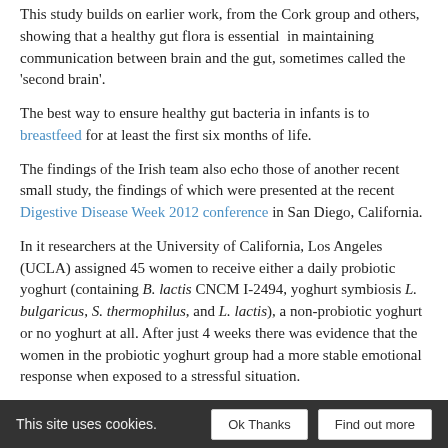This study builds on earlier work, from the Cork group and others, showing that a healthy gut flora is essential in maintaining communication between brain and the gut, sometimes called the 'second brain'.
The best way to ensure healthy gut bacteria in infants is to breastfeed for at least the first six months of life.
The findings of the Irish team also echo those of another recent small study, the findings of which were presented at the recent Digestive Disease Week 2012 conference in San Diego, California.
In it researchers at the University of California, Los Angeles (UCLA) assigned 45 women to receive either a daily probiotic yoghurt (containing B. lactis CNCM I-2494, yoghurt symbiosis L. bulgaricus, S. thermophilus, and L. lactis), a non-probiotic yoghurt or no yoghurt at all. After just 4 weeks there was evidence that the women in the probiotic yoghurt group had a more stable emotional response when exposed to a stressful situation.
As with the Cork study, Kirsten Tillisch who led the Californian researchers noted: 'By changing the environment in the gut we...
This site uses cookies.  Ok Thanks  Find out more